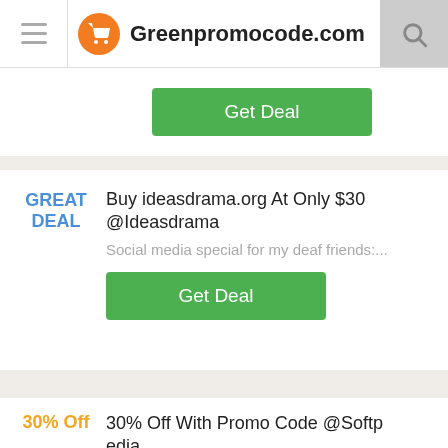Greenpromocode.com
Get Deal
Buy ideasdrama.org At Only $30 @Ideasdrama
Social media special for my deaf friends:...
Get Deal
30% Off With Promo Code @Softpedia
MoneyLine [DISCOUNT: 30% OFF!] 2.0...
Get Deal